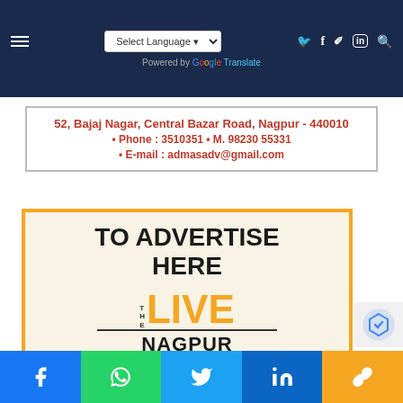Select Language | Powered by Google Translate | Social icons: Facebook, Twitter, Instagram, LinkedIn, Search
52, Bajaj Nagar, Central Bazar Road, Nagpur - 440010 • Phone : 3510351 • M. 98230 55331 • E-mail : admasadv@gmail.com
[Figure (infographic): TO ADVERTISE HERE banner with The Live Nagpur logo and www.thelivenagpur.com URL]
Social share bar: Facebook, WhatsApp, Twitter, LinkedIn, Link